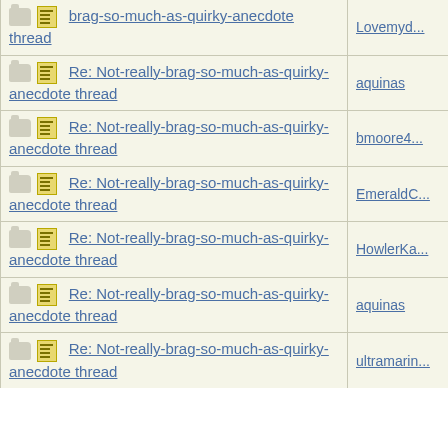| Thread | Author |
| --- | --- |
| Re: Not-really-brag-so-much-as-quirky-anecdote thread | Lovemyd... |
| Re: Not-really-brag-so-much-as-quirky-anecdote thread | aquinas |
| Re: Not-really-brag-so-much-as-quirky-anecdote thread | bmoore4... |
| Re: Not-really-brag-so-much-as-quirky-anecdote thread | EmeraldC... |
| Re: Not-really-brag-so-much-as-quirky-anecdote thread | HowlerKa... |
| Re: Not-really-brag-so-much-as-quirky-anecdote thread | aquinas |
| Re: Not-really-brag-so-much-as-quirky-anecdote thread | ultramarin... |